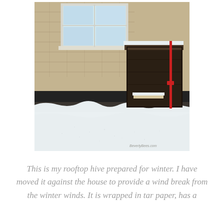[Figure (photo): A rooftop beehive wrapped in dark material (tar paper) with a red strap, positioned against the side of a house with tan shingle siding and a window above, surrounded by deep snow on a flat roof. A watermark reads 'BeverlyBees.com' in the lower right corner.]
This is my rooftop hive prepared for winter. I have moved it against the house to provide a wind break from the winter winds. It is wrapped in tar paper, has a